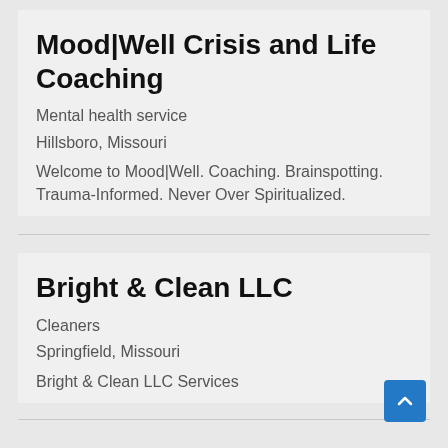Mood|Well Crisis and Life Coaching
Mental health service
Hillsboro, Missouri
Welcome to Mood|Well. Coaching. Brainspotting. Trauma-Informed. Never Over Spiritualized.
Bright & Clean LLC
Cleaners
Springfield, Missouri
Bright & Clean LLC Services